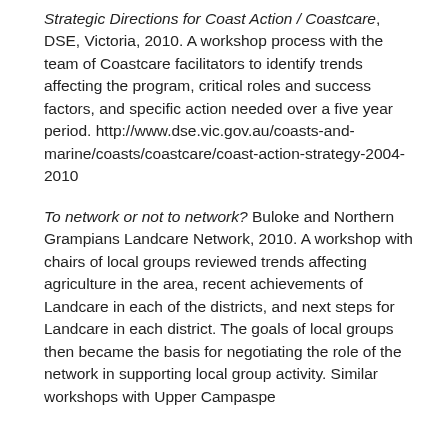Strategic Directions for Coast Action / Coastcare, DSE, Victoria, 2010. A workshop process with the team of Coastcare facilitators to identify trends affecting the program, critical roles and success factors, and specific action needed over a five year period. http://www.dse.vic.gov.au/coasts-and-marine/coasts/coastcare/coast-action-strategy-2004-2010
To network or not to network? Buloke and Northern Grampians Landcare Network, 2010. A workshop with chairs of local groups reviewed trends affecting agriculture in the area, recent achievements of Landcare in each of the districts, and next steps for Landcare in each district. The goals of local groups then became the basis for negotiating the role of the network in supporting local group activity. Similar workshops with Upper Campaspe